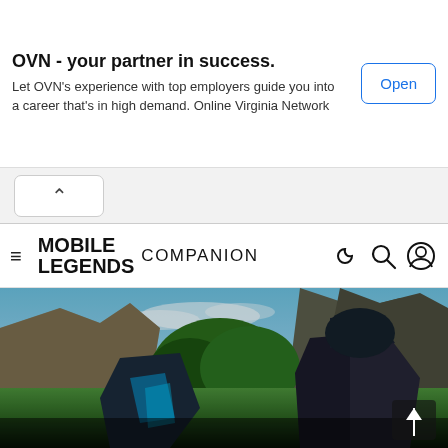[Figure (infographic): OVN advertisement banner: bold title 'OVN - your partner in success.' with body text 'Let OVN's experience with top employers guide you into a career that's in high demand. Online Virginia Network' and a blue-outlined 'Open' button on the right.]
[Figure (screenshot): Mobile Legends Companion website navigation bar with hamburger menu, Mobile Legends Companion logo, and icons for dark mode, search, and user account.]
[Figure (illustration): Mobile Legends game artwork showing two armored fantasy characters in a rocky landscape with green trees and a bright blue sky. Dark-toned character on the right with heavy armor, glowing blue-accented character on the left.]